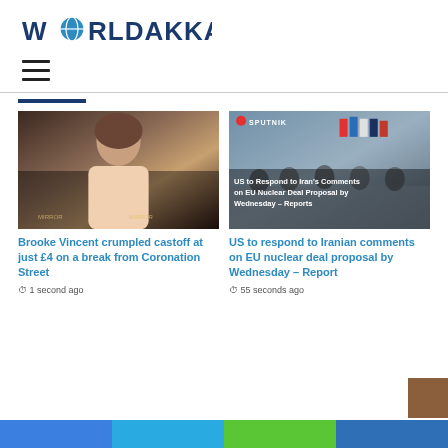WORLDAKKAM
[Figure (logo): Worldakkam website logo with globe icon replacing the O]
[Figure (illustration): Hamburger menu icon (three horizontal lines)]
[Figure (photo): Photo of Brooke Vincent at an event wearing a deep-V dress]
Brooke Vincent crumpled castoff at just £4 on a break from Coronation Street
⏱ 1 second ago
[Figure (photo): Sputnik news photo of a conference/meeting room with international flags and delegates seated; overlay text: 'US to Respond to Iran's Comments on EU Nuclear Deal Proposal by Wednesday – Reports']
US to respond to Iranian comments on EU nuclear deal proposal by Wednesday – Report
⏱ 55 seconds ago